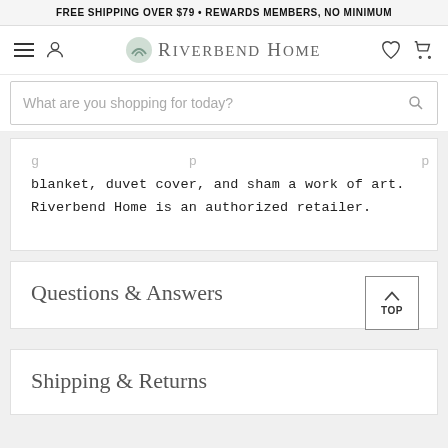FREE SHIPPING OVER $79 • REWARDS MEMBERS, NO MINIMUM
[Figure (logo): Riverbend Home logo with navigation icons (hamburger menu, user, heart, cart)]
[Figure (screenshot): Search bar with placeholder text: What are you shopping for today?]
blanket, duvet cover, and sham a work of art. Riverbend Home is an authorized retailer.
Questions & Answers
Shipping & Returns